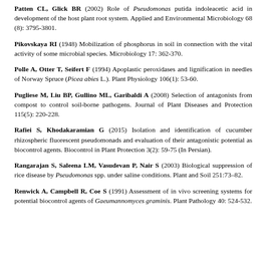Patten CL, Glick BR (2002) Role of Pseudomonas putida indoleacetic acid in development of the host plant root system. Applied and Environmental Microbiology 68 (8): 3795-3801.
Pikovskaya RI (1948) Mobilization of phosphorus in soil in connection with the vital activity of some microbial species. Microbiology 17: 362-370.
Polle A, Otter T, Seifert F (1994) Apoplastic peroxidases and lignification in needles of Norway Spruce (Picea abies L.). Plant Physiology 106(1): 53-60.
Pugliese M, Liu BP, Gullino ML, Garibaldi A (2008) Selection of antagonists from compost to control soil-borne pathogens. Journal of Plant Diseases and Protection 115(5): 220-228.
Rafiei S, Khodakaramian G (2015) Isolation and identification of cucumber rhizospheric fluorescent pseudomonads and evaluation of their antagonistic potential as biocontrol agents. Biocontrol in Plant Protection 3(2): 59-75 (In Persian).
Rangarajan S, Saleena LM, Vasudevan P, Nair S (2003) Biological suppression of rice disease by Pseudomonas spp. under saline conditions. Plant and Soil 251:73–82.
Renwick A, Campbell R, Coe S (1991) Assessment of in vivo screening systems for potential biocontrol agents of Gaeumannomyces graminis. Plant Pathology 40: 524-532.